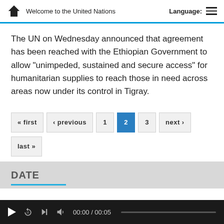Welcome to the United Nations | Language:
The UN on Wednesday announced that agreement has been reached with the Ethiopian Government to allow “unimpeded, sustained and secure access” for humanitarian supplies to reach those in need across areas now under its control in Tigray.
« first  ‹ previous  1  2  3  next ›  last »
DATE
00:00 / 00:05